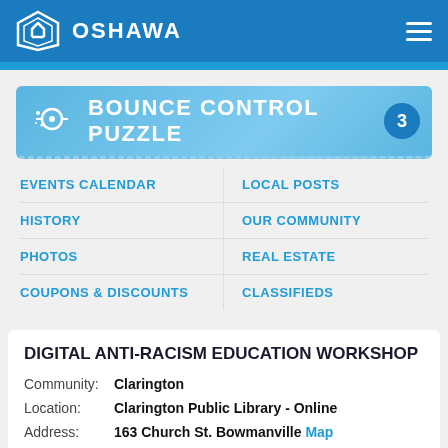OSHAWA
[Figure (screenshot): Bounce Control Puzzle banner with circular icon and badge number 3]
EVENTS CALENDAR
LOCAL POSTS
HISTORY
OUR COMMUNITY
PHOTOS
REAL ESTATE
COUPONS & DISCOUNTS
CLASSIFIEDS
DIGITAL ANTI-RACISM EDUCATION WORKSHOP
Community: Clarington
Location: Clarington Public Library - Online
Address: 163 Church St. Bowmanville Map